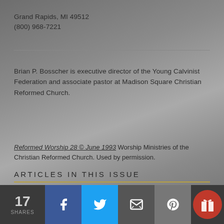Grand Rapids, MI 49512
(800) 968-7221
Brian P. Bosscher is executive director of the Young Calvinist Federation and associate pastor at Madison Square Christian Reformed Church.
Reformed Worship 28 © June 1993 Worship Ministries of the Christian Reformed Church. Used by permission.
ARTICLES IN THIS ISSUE
17 SHARES